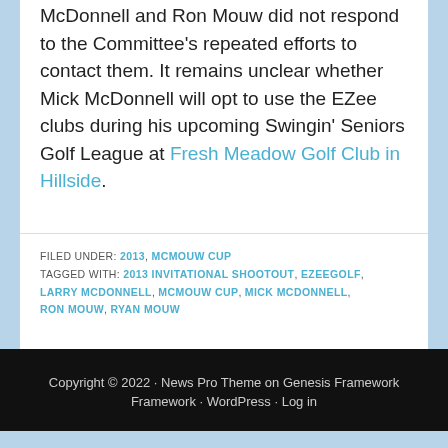McDonnell and Ron Mouw did not respond to the Committee's repeated efforts to contact them. It remains unclear whether Mick McDonnell will opt to use the EZee clubs during his upcoming Swingin' Seniors Golf League at Fresh Meadow Golf Club in Hillside.
FILED UNDER: 2013, MCMOUW CUP
TAGGED WITH: 2013 INVITATIONAL SHOOTOUT, EZEEGOLF, LARRY MCDONNELL, MCMOUW CUP, MICK MCDONNELL, RON MOUW, RYAN MOUW
Copyright © 2022 · News Pro Theme on Genesis Framework · WordPress · Log in